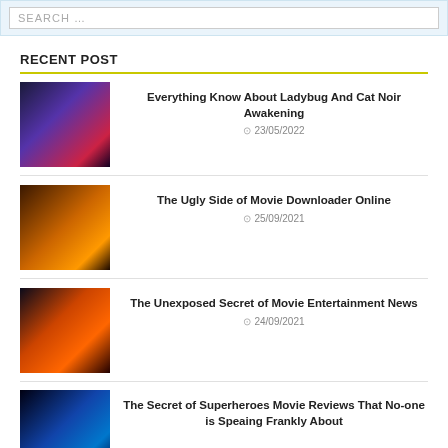[Figure (screenshot): Search input box with placeholder text SEARCH …]
RECENT POST
Everything Know About Ladybug And Cat Noir Awakening
23/05/2022
The Ugly Side of Movie Downloader Online
25/09/2021
The Unexposed Secret of Movie Entertainment News
24/09/2021
The Secret of Superheroes Movie Reviews That No-one is Speaing Frankly About